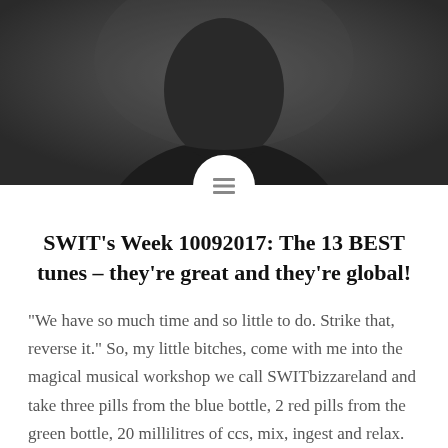[Figure (photo): Dark silhouette of a person's head and shoulders against a dark gray background]
SWIT's Week 10092017: The 13 BEST tunes – they're great and they're global!
“We have so much time and so little to do. Strike that, reverse it.” So, my little bitches, come with me into the magical musical workshop we call SWITbizzareland and take three pills from the blue bottle, 2 red pills from the green bottle, 20 millilitres of ccs, mix, ingest and relax. Felling uncomfortable yet?